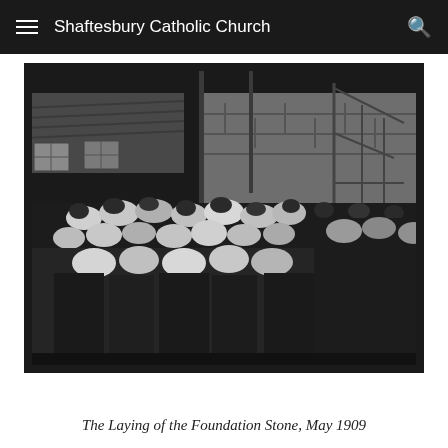Shaftesbury Catholic Church
[Figure (photo): Black and white historical photograph showing a large crowd of people gathered outdoors for the Laying of the Foundation Stone ceremony in May 1909. People are dressed in early 20th century attire, with women in long skirts and men in dark suits. A thatched cottage and stone building are visible in the background, along with construction scaffolding or a crane structure.]
The Laying of the Foundation Stone, May 1909